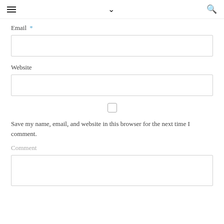≡  ∨  🔍
Email *
Website
Save my name, email, and website in this browser for the next time I comment.
Comment